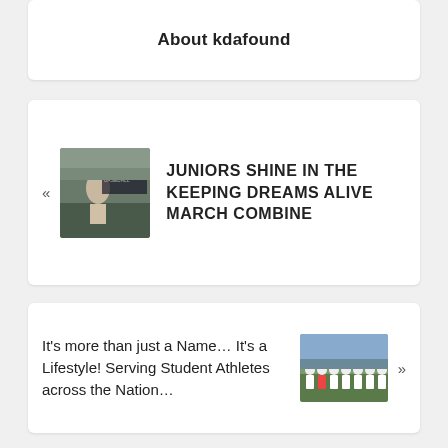About kdafound
JUNIORS SHINE IN THE KEEPING DREAMS ALIVE MARCH COMBINE
It’s more than just a Name… It’s a Lifestyle! Serving Student Athletes across the Nation…